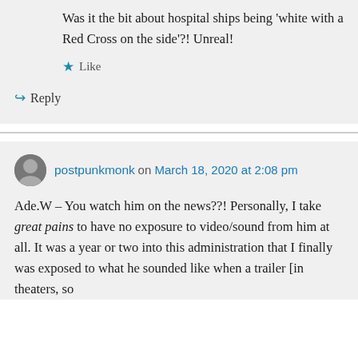Was it the bit about hospital ships being 'white with a Red Cross on the side'?! Unreal!
★ Like
↳ Reply
postpunkmonk on March 18, 2020 at 2:08 pm
Ade.W – You watch him on the news??! Personally, I take great pains to have no exposure to video/sound from him at all. It was a year or two into this administration that I finally was exposed to what he sounded like when a trailer [in theaters, so